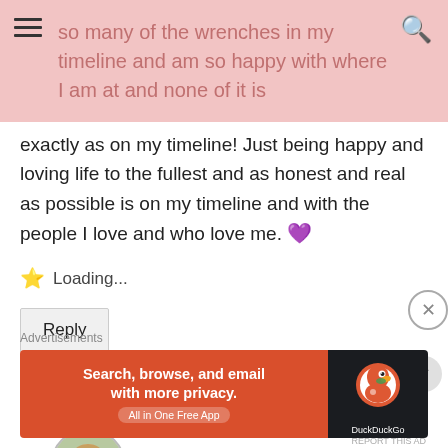so many of the wrenches in my timeline and am so happy with where I am at and none of it is
exactly as on my timeline! Just being happy and loving life to the fullest and as honest and real as possible is on my timeline and with the people I love and who love me. 💜
Loading...
Reply
[Figure (photo): Circular avatar photo of a woman with blonde hair outdoors]
Advertisements
[Figure (screenshot): DuckDuckGo advertisement banner: Search, browse, and email with more privacy. All in One Free App.]